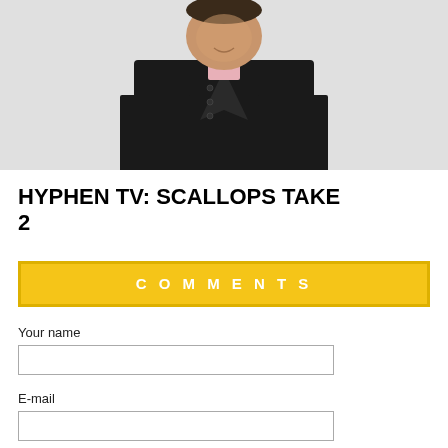[Figure (photo): A man wearing a black chef's coat with a Top Chef logo on the chest and a pink collared shirt visible underneath, smiling, cropped from the chest up.]
HYPHEN TV: SCALLOPS TAKE 2
COMMENTS
Your name
E-mail
The content of this field is kept private and will not be